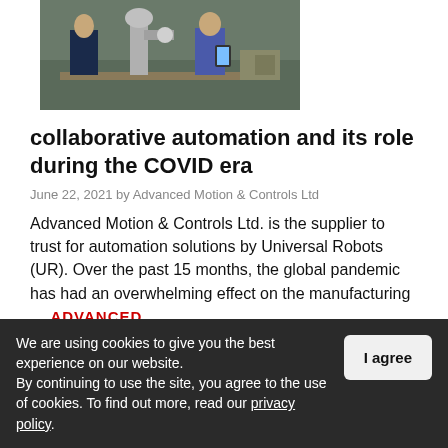[Figure (photo): Two people in a workshop/industrial setting examining a robotic arm or industrial machine on a workbench.]
collaborative automation and its role during the COVID era
June 22, 2021 by Advanced Motion & Controls Ltd
Advanced Motion & Controls Ltd. is the supplier to trust for automation solutions by Universal Robots (UR). Over the past 15 months, the global pandemic has had an overwhelming effect on the manufacturing …
We are using cookies to give you the best experience on our website.
By continuing to use the site, you agree to the use of cookies. To find out more, read our privacy policy.